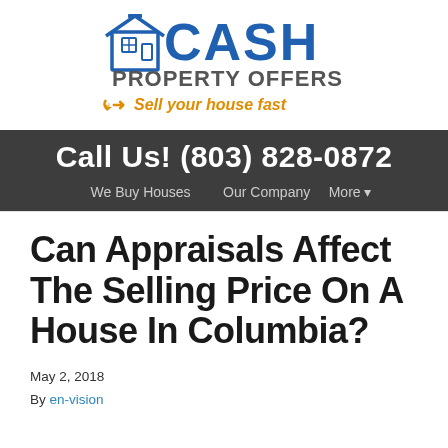[Figure (logo): Cash Property Offers logo with house icon, blue CASH text, gray PROPERTY OFFERS text, and orange arrow with 'Sell your house fast' tagline]
Call Us! (803) 828-0872
We Buy Houses   Our Company   More ▾
Can Appraisals Affect The Selling Price On A House In Columbia?
May 2, 2018
By en-vision